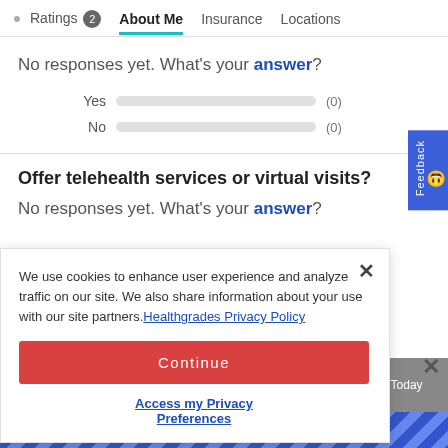Ratings 2  About Me  Insurance  Locations
No responses yet. What's your answer?
Yes (0)
No (0)
Offer telehealth services or virtual visits?
No responses yet. What's your answer?
We use cookies to enhance user experience and analyze traffic on our site. We also share information about your use with our site partners. Healthgrades Privacy Policy
Continue
Access my Privacy Preferences